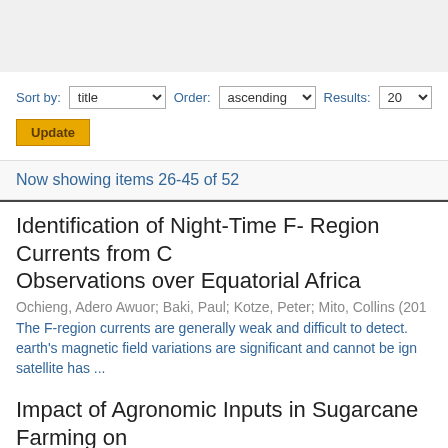Sort by: title  Order: ascending  Results: 20
Update
Now showing items 26-45 of 52
Identification of Night-Time F- Region Currents from C Observations over Equatorial Africa
Ochieng, Adero Awuor; Baki, Paul; Kotze, Peter; Mito, Collins (201
The F-region currents are generally weak and difficult to detect. earth's magnetic field variations are significant and cannot be ign satellite has ...
Impact of Agronomic Inputs in Sugarcane Farming on Aquatic Ecosystems and Soils within Lake Victoria Ba
Omwoma, S; Lalah, JO; Ongeri, DMK; Schramm, Karl-Werner;S